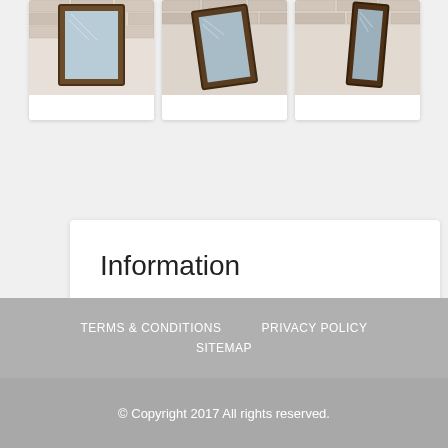[Figure (photo): Three product thumbnail images of framed mirrors displayed against a brick wall, shown as cards in a horizontal row]
[Figure (infographic): Two pagination dots: one active (dark red) and one inactive (light pink)]
Information
Stock Code: JRF16B
TERMS & CONDITIONS   PRIVACY POLICY   SITEMAP
© Copyright 2017 All rights reserved.